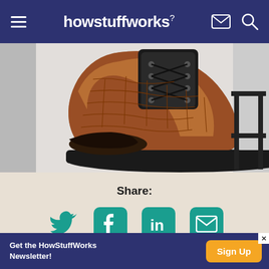howstuffworks
[Figure (photo): Close-up photo of a brown crocodile-textured leather lace-up boot resting on a metal stand/rack against a white background.]
Share:
[Figure (infographic): Row of four social share icon buttons: Twitter (bird), Facebook (f), LinkedIn (in), Email (envelope) — all in teal/green color on beige background.]
Citation
Get the HowStuffWorks Newsletter!
Sign Up